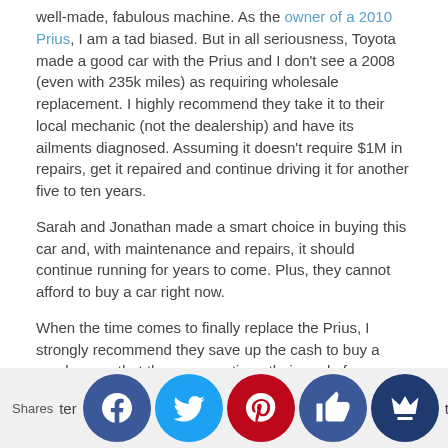well-made, fabulous machine. As the owner of a 2010 Prius, I am a tad biased. But in all seriousness, Toyota made a good car with the Prius and I don't see a 2008 (even with 235k miles) as requiring wholesale replacement. I highly recommend they take it to their local mechanic (not the dealership) and have its ailments diagnosed. Assuming it doesn't require $1M in repairs, get it repaired and continue driving it for another five to ten years.
Sarah and Jonathan made a smart choice in buying this car and, with maintenance and repairs, it should continue running for years to come. Plus, they cannot afford to buy a car right now.
When the time comes to finally replace the Prius, I strongly recommend they save up the cash to buy a used car so that they can continue their goal of remaining debt-free. More about why I suggest buying older, higher-mileage used cars here and here.
Sarah's Question #4: How can we save
ter tire t?
Shares [social icons: Facebook, Twitter, Pinterest, Like, Crown]